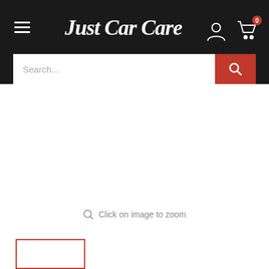[Figure (screenshot): Just Car Care website header with dark background, logo, hamburger menu, account icon, cart icon with badge '0', and search bar with red search button]
Search...
Click on image to zoom
[Figure (other): Thumbnail image placeholder with red border]